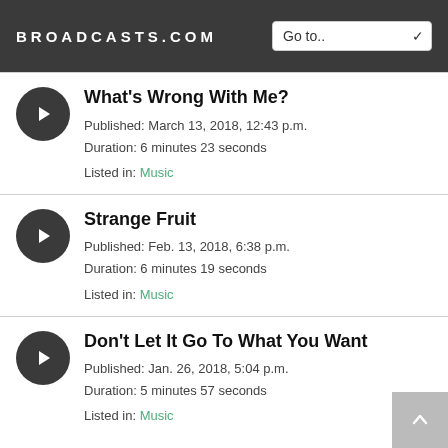BROADCASTS.COM
What's Wrong With Me? | Published: March 13, 2018, 12:43 p.m. | Duration: 6 minutes 23 seconds | Listed in: Music
Strange Fruit | Published: Feb. 13, 2018, 6:38 p.m. | Duration: 6 minutes 19 seconds | Listed in: Music
Don't Let It Go To What You Want | Published: Jan. 26, 2018, 5:04 p.m. | Duration: 5 minutes 57 seconds | Listed in: Music